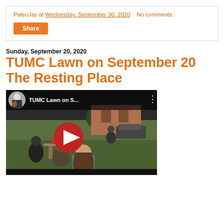PaleoJay at Wednesday, September 30, 2020   No comments:
Share
Sunday, September 20, 2020
TUMC Lawn on September 20 The Resting Place
[Figure (screenshot): YouTube video thumbnail showing outdoor church gathering on a lawn with a play button overlay. Title reads 'TUMC Lawn on S...' A person playing guitar is shown in a circular thumbnail in the upper left corner.]